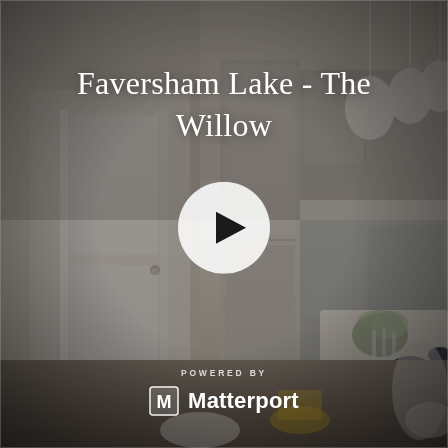[Figure (photo): Interior photo of a modern kitchen-dining area with white and grey cabinetry, pendant lights, a dining table set with dark blue dinnerware, yellow chairs, and floral arrangement. The image serves as a background for a Matterport 3D tour thumbnail.]
Faversham Lake - The Willow
[Figure (other): White circular play button overlay in the center of the image, indicating a clickable 3D virtual tour video]
POWERED BY
Matterport